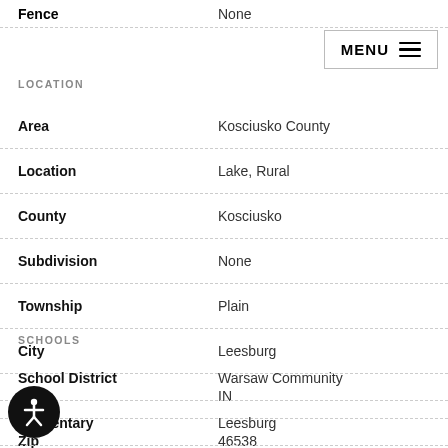Fence — None
LOCATION
| Field | Value |
| --- | --- |
| Area | Kosciusko County |
| Location | Lake, Rural |
| County | Kosciusko |
| Subdivision | None |
| Township | Plain |
| City | Leesburg |
| State | IN |
| Zip | 46538 |
SCHOOLS
| Field | Value |
| --- | --- |
| School District | Warsaw Community |
| Elementary | Leesburg |
| Middle School | Lakeview |
| High School | Warsaw |